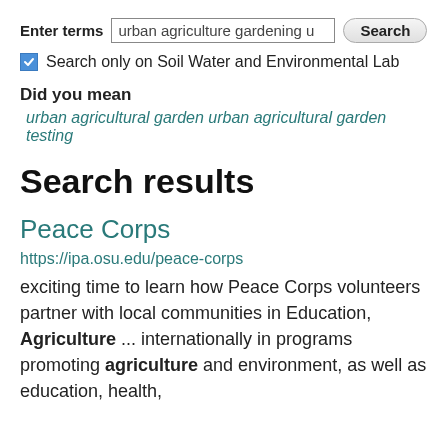Enter terms  urban agriculture gardening u  Search
Search only on Soil Water and Environmental Lab
Did you mean
urban agricultural garden urban agricultural garden testing
Search results
Peace Corps
https://ipa.osu.edu/peace-corps
exciting time to learn how Peace Corps volunteers partner with local communities in Education, Agriculture ... internationally in programs promoting agriculture and environment, as well as education, health,